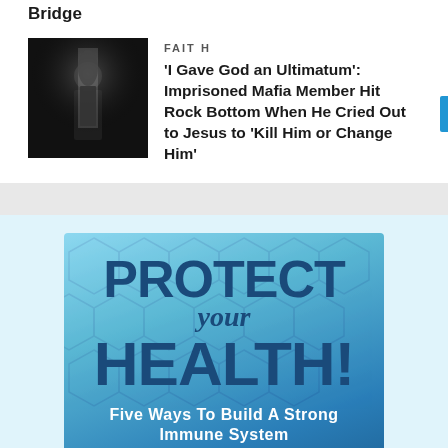Bridge
FAITH
'I Gave God an Ultimatum': Imprisoned Mafia Member Hit Rock Bottom When He Cried Out to Jesus to 'Kill Him or Change Him'
[Figure (illustration): Black and white photo of a silhouetted figure standing in a dark doorway with light behind them]
[Figure (infographic): Advertisement: PROTECT your HEALTH! Five Ways to Build a Strong Immune System. Get Your Free DVD. Blue gradient background with hexagonal pattern.]